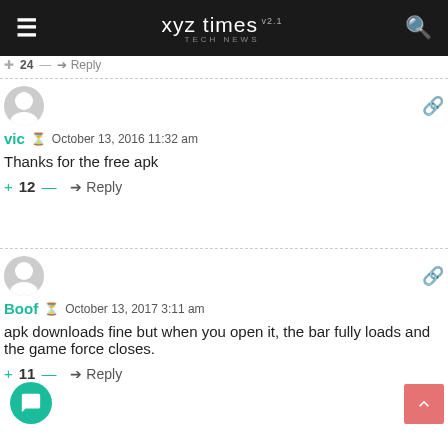xyz times v2.1 TECH NEWS
vic  October 13, 2016 11:32 am
Thanks for the free apk
+ 12 —  Reply
Boof  October 13, 2017 3:11 am
apk downloads fine but when you open it, the bar fully loads and the game force closes.
+ 11 —  Reply